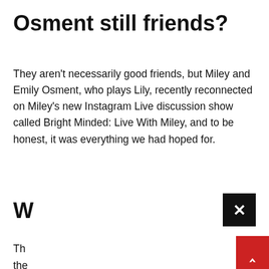Osment still friends?
They aren't necessarily good friends, but Miley and Emily Osment, who plays Lily, recently reconnected on Miley's new Instagram Live discussion show called Bright Minded: Live With Miley, and to be honest, it was everything we had hoped for.
W
Th ... 08, the ... he Las ... n De ... e did nic ... t